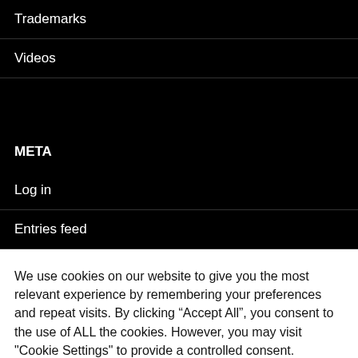Trademarks
Videos
META
Log in
Entries feed
We use cookies on our website to give you the most relevant experience by remembering your preferences and repeat visits. By clicking “Accept All”, you consent to the use of ALL the cookies. However, you may visit "Cookie Settings" to provide a controlled consent.